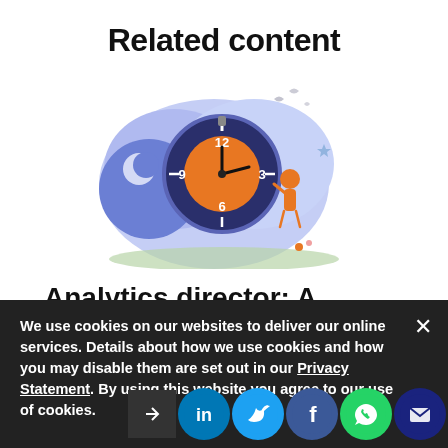Related content
[Figure (illustration): Illustration of a person standing next to a large clock/timer with a night sky and cloud background, depicting time management or scheduling.]
Analytics director: A day in the life
We use cookies on our websites to deliver our online services. Details about how we use cookies and how you may disable them are set out in our Privacy Statement. By using this website you agree to our use of cookies.